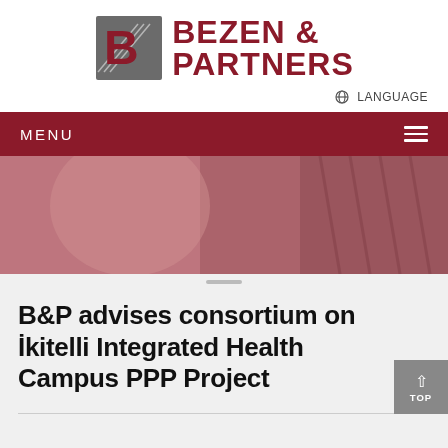[Figure (logo): Bezen & Partners logo with stylized B icon in grey square frame and dark red text]
LANGUAGE
MENU
[Figure (photo): Background hero image of a person's torso in dark red overlay, medical/health themed]
B&P advises consortium on İkitelli Integrated Health Campus PPP Project